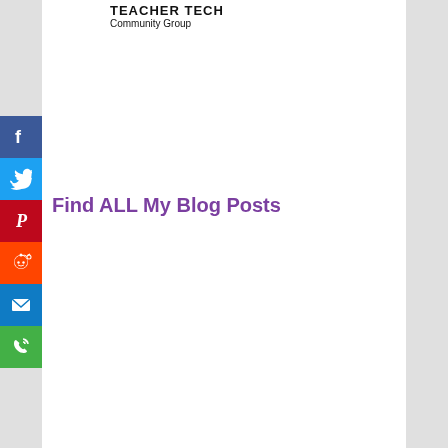TEACHER TECH Community Group
[Figure (infographic): Vertical social media share sidebar with icons for Facebook (blue), Twitter (light blue), Pinterest (dark red), Reddit (orange), Email (blue), Phone/Contact (green)]
Find ALL My Blog Posts